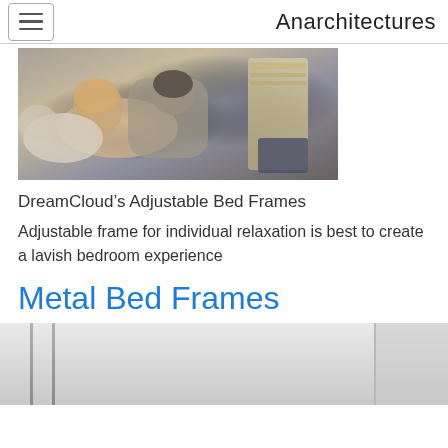Anarchitectures
[Figure (photo): A couple lying on an adjustable mattress/bed frame, the woman resting her head on the man's chest. The mattress has a detailed pillow-top with beige and gray tones.]
DreamCloud’s Adjustable Bed Frames
Adjustable frame for individual relaxation is best to create a lavish bedroom experience
Metal Bed Frames
[Figure (photo): A white metal bed frame shown in a bright, minimal bedroom setting. Vertical metal bars visible on the headboard.]